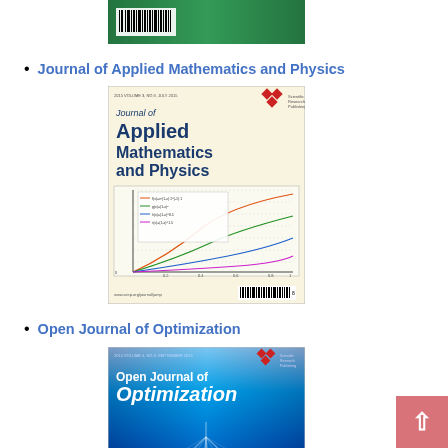[Figure (photo): Partially visible top portion of a green journal cover with barcode]
Journal of Applied Mathematics and Physics
[Figure (photo): Journal of Applied Mathematics and Physics cover — cream/yellow background with bold blue title text and a graph on the lower half]
Open Journal of Optimization
[Figure (photo): Open Journal of Optimization cover — bright blue/cyan gradient background with white bold title text and geometric light-ray design]